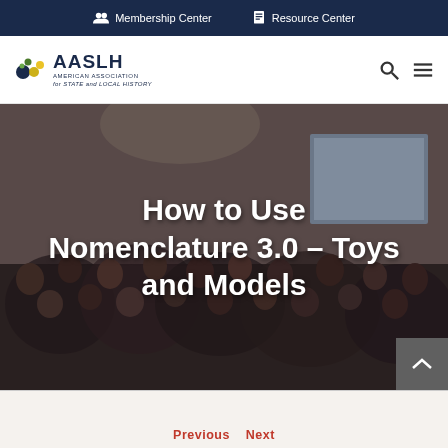Membership Center   Resource Center
[Figure (logo): AASLH American Association for State and Local History logo with colorful dot cluster icon]
How to Use Nomenclature 3.0 – Toys and Models
[Figure (photo): Large conference room filled with seated attendees watching a presentation on a screen at the front]
Previous   Next